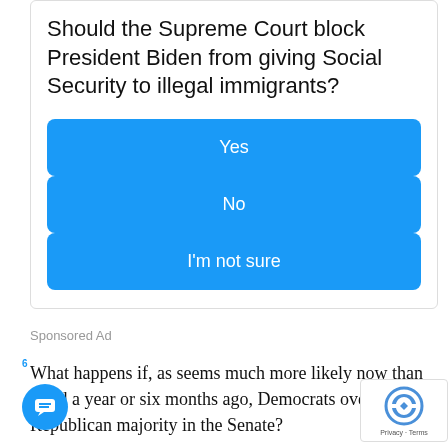Should the Supreme Court block President Biden from giving Social Security to illegal immigrants?
Yes
No
I'm not sure
Sponsored Ad
What happens if, as seems much more likely now than it did a year or six months ago, Democrats overturn the Republican majority in the Senate?
No clear answer yet, but NBC News reports Democ...